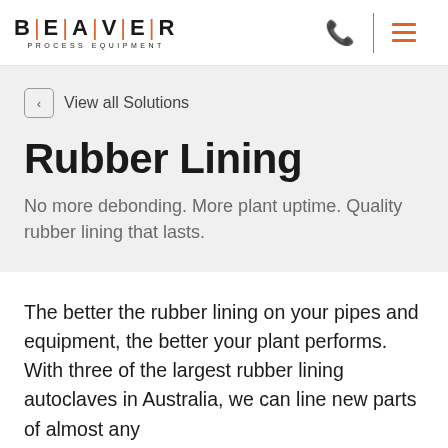BEAVER PROCESS EQUIPMENT
View all Solutions
Rubber Lining
No more debonding. More plant uptime. Quality rubber lining that lasts.
The better the rubber lining on your pipes and equipment, the better your plant performs. With three of the largest rubber lining autoclaves in Australia, we can line new parts of almost any